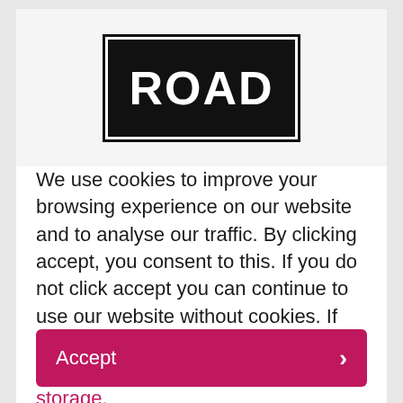[Figure (illustration): A road sign with black background and white bold text reading 'ROAD', with a black outer border and white inner border frame.]
We use cookies to improve your browsing experience on our website and to analyse our traffic. By clicking accept, you consent to this. If you do not click accept you can continue to use our website without cookies. If you wish to remove your consent at any time, please clear your local storage.
Accept >